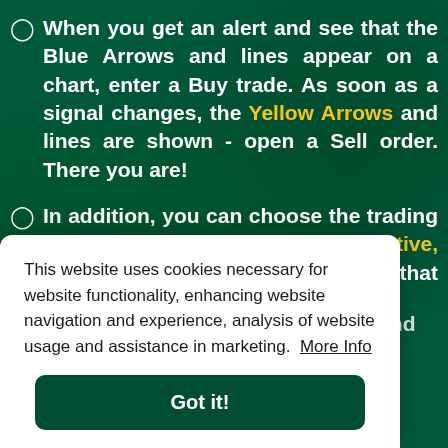When you get an alert and see that the Blue Arrows and lines appear on a chart, enter a Buy trade. As soon as a signal changes, the Yellow Arrows and lines are shown - open a Sell order. There you are!
In addition, you can choose the trading style that suits you: Conservative, Medium, Aggressive or Custom that allows you to change the settings of frequency and...
This website uses cookies necessary for website functionality, enhancing website navigation and experience, analysis of website usage and assistance in marketing. More Info